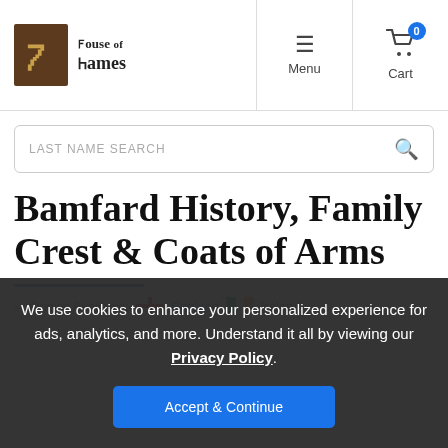House of Names | Menu | Cart (0)
LAST NAME SEARCH
Bamfard History, Family Crest & Coats of Arms
Origins Available: England | Ireland
We use cookies to enhance your personalized experience for ads, analytics, and more. Understand it all by viewing our Privacy Policy.
Accept & Continue